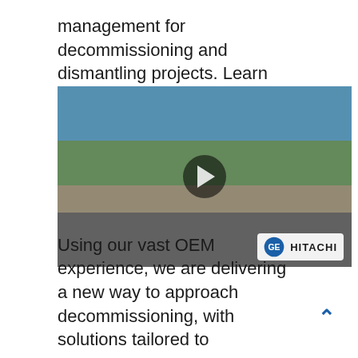management for decommissioning and dismantling projects. Learn more below:
[Figure (photo): Video thumbnail showing large industrial decommissioning equipment (blue and yellow metal framework) outdoors at a facility. A play button overlay is visible in the center. GE Hitachi branding appears in the bottom-right corner of the thumbnail.]
Using our vast OEM experience, we are delivering a new way to approach decommissioning, with solutions tailored to